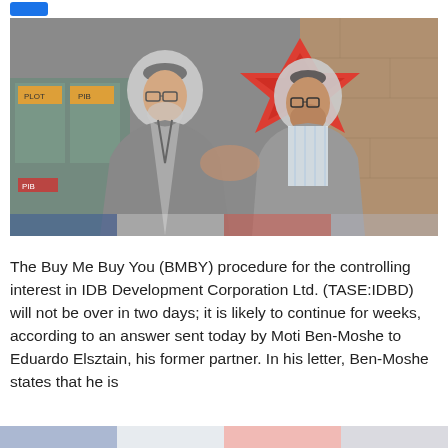[Figure (photo): Two men in suits facing each other and apparently in conversation outside a building. A large red sculptural logo is visible in the background. One man is older wearing glasses and a kippah, the other is younger also wearing glasses.]
The Buy Me Buy You (BMBY) procedure for the controlling interest in IDB Development Corporation Ltd. (TASE:IDBD) will not be over in two days; it is likely to continue for weeks, according to an answer sent today by Moti Ben-Moshe to Eduardo Elsztain, his former partner. In his letter, Ben-Moshe states that he is offering Elsztain an answer and that Ben-Moshe...